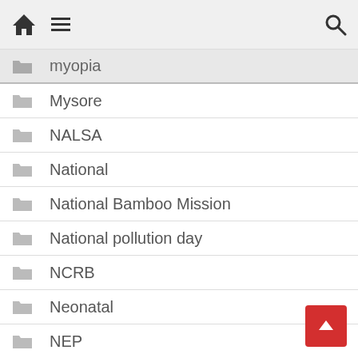Home | Menu | Search
Myopia
Mysore
NALSA
National
National Bamboo Mission
National pollution day
NCRB
Neonatal
NEP
NGOs
Nifty
Non-binary